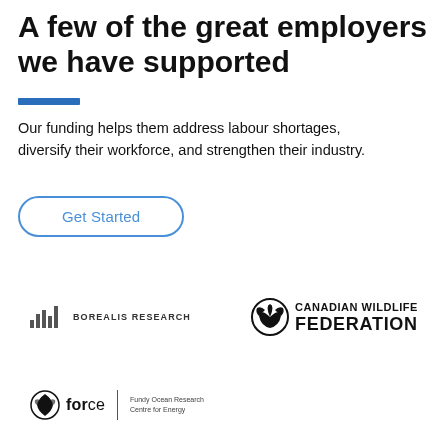A few of the great employers we have supported
Our funding helps them address labour shortages, diversify their workforce, and strengthen their industry.
[Figure (illustration): Blue rounded rectangle button with text 'Get Started' in blue]
[Figure (logo): Borealis Research logo with bar chart icon and text 'BOREALIS RESEARCH']
[Figure (logo): Canadian Wildlife Federation logo with bird/wing icon and text 'CANADIAN WILDLIFE FEDERATION']
[Figure (logo): FORCE - Fundy Ocean Research Centre for Energy logo]